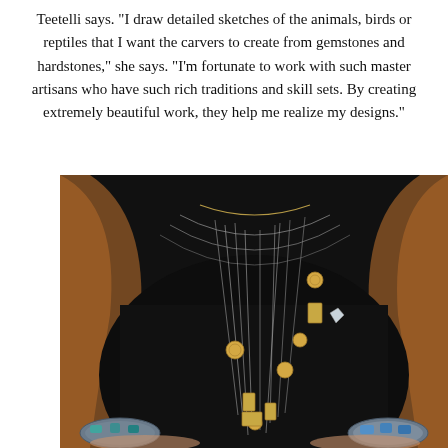Teetelli says. "I draw detailed sketches of the animals, birds or reptiles that I want the carvers to create from gemstones and hardstones," she says. "I'm fortunate to work with such master artisans who have such rich traditions and skill sets. By creating extremely beautiful work, they help me realize my designs."
[Figure (photo): Close-up photo of a person wearing layered necklaces with gold coin and rectangular charms on a black top, with brown hair and decorative bracelets visible.]